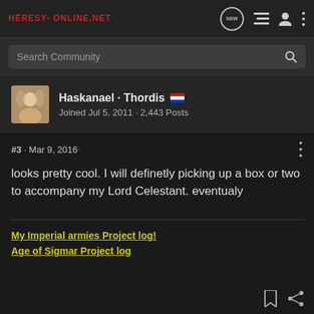Heresy-Online.net
Search Community
Haskanael · Thordis 🇳🇱
Joined Jul 5, 2011 · 2,443 Posts
#3 · Mar 9, 2016
looks pretty cool. I will definetly picking up a box or two to accompany my Lord Celestant. eventualy
My Imperial armies Project log!
Age of Sigmar Project log